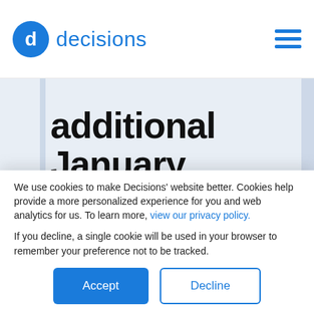decisions
additional January product updates
Meeting organizers can now give meeting participants the option to cast votes through email, creating an even
We use cookies to make Decisions' website better. Cookies help provide a more personalized experience for you and web analytics for us. To learn more, view our privacy policy.
If you decline, a single cookie will be used in your browser to remember your preference not to be tracked.